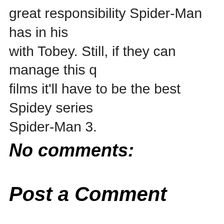great responsibility Spider-Man has in his with Tobey. Still, if they can manage this q films it'll have to be the best Spidey series Spider-Man 3.
No comments:
Post a Comment